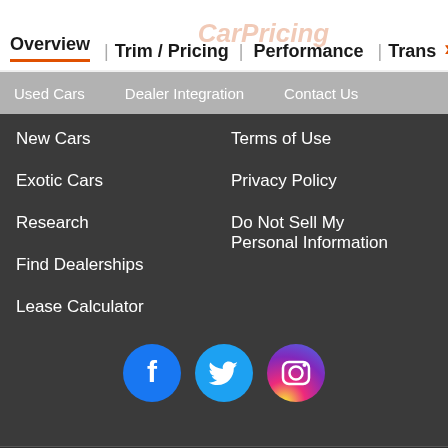Overview | Trim / Pricing | Performance | Trans >
Used Cars
Dealer Integration
Contact Us
New Cars
Terms of Use
Exotic Cars
Privacy Policy
Research
Do Not Sell My Personal Information
Find Dealerships
Lease Calculator
[Figure (infographic): Social media icons: Facebook (blue circle with F), Twitter (light blue circle with bird), Instagram (gradient circle with camera icon)]
Copyright 2022, Nowcom, LLC. All Rights Reserved.